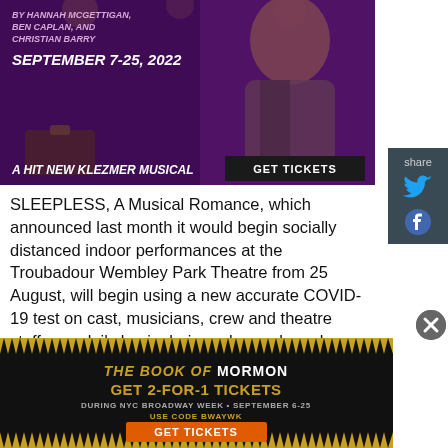[Figure (photo): Theater advertisement image for a Klezmer musical showing a performer in theatrical costume, with text 'September 7-25, 2022', 'A Hit New Klezmer Musical', and a 'GET TICKETS' button]
SLEEPLESS, A Musical Romance, which announced last month it would begin socially distanced indoor performances at the Troubadour Wembley Park Theatre from 25 August, will begin using a new accurate COVID-19 test on cast, musicians, crew and theatre staff on a daily basis during rehearsals and during the run of the show. The test is called FRANKD (Fast, Reliable, Accurate, Nucleic-based Kit
[Figure (illustration): Advertisement for The Book of Mormon musical - 'GET 2-FOR-1 TICKETS DURING NYC BROADWAY WEEK • SEPTEMBER 6-25 USE CODE BWAYWK GET TICKETS']